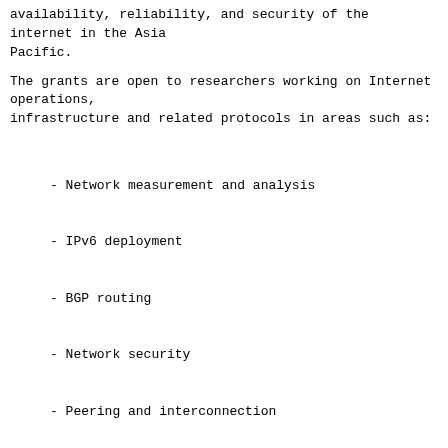availability, reliability, and security of the internet in the Asia
Pacific.
The grants are open to researchers working on Internet operations,
infrastructure and related protocols in areas such as:
- Network measurement and analysis
- IPv6 deployment
- BGP routing
- Network security
- Peering and interconnection
Public or private sector organizations, universities, research and
development institutions and non-government organizations will be
considered, with members of Network Operator Groups (NOGs), IXPs, root
server operators, academics, and post-graduate students particularly
encouraged to apply.
Applicants can apply for funding between AUD 5,000 to AUD 45,000 based
on research needs, a realistic timeframe, and a detailed budget.
AUD 90,000 is available in total to fund successful applications.